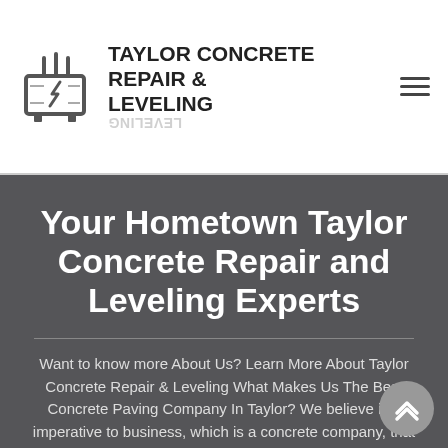[Figure (logo): Taylor Concrete Repair & Leveling logo icon — a stylized concrete leveler/screed tool icon in grey tones]
TAYLOR CONCRETE REPAIR & LEVELING
Your Hometown Taylor Concrete Repair and Leveling Experts
Want to know more About Us? Learn More About Taylor Concrete Repair & Leveling What Makes Us The Best Concrete Paving Company In Taylor? We believe it is imperative to business, which is a concrete company, that